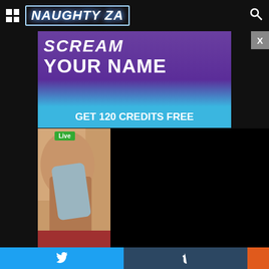Naughty ZA
[Figure (photo): Adult website advertisement banner showing 'SCREAM YOUR NAME' text with 'GET 120 CREDITS FREE' call to action on blue background]
[Figure (photo): Thumbnail photo with Live badge overlay, showing partial figure]
Social share buttons: Twitter, Tumblr, and orange button